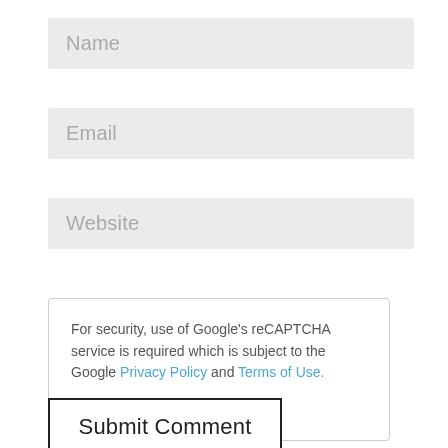[Figure (screenshot): Name input field with light gray background]
[Figure (screenshot): Email input field with light gray background]
[Figure (screenshot): Website input field with light gray background]
For security, use of Google's reCAPTCHA service is required which is subject to the Google Privacy Policy and Terms of Use. I agree to these terms.
[Figure (screenshot): Submit Comment button with black border]